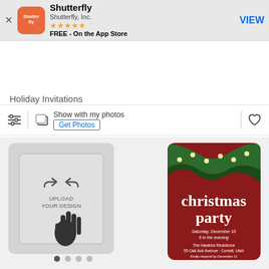[Figure (screenshot): App Store banner for Shutterfly app with orange icon, 5 stars, FREE label, and VIEW button]
[Figure (logo): Shutterfly navigation bar with hamburger menu, brand name in orange, search icon, account icon, and cart icon]
Holiday Invitations
[Figure (screenshot): Filter bar with sliders icon, photo preview icon, 'Show with my photos' text, 'Get Photos' link button, divider, and heart icon]
[Figure (photo): Left product card: gray upload placeholder with hand cursor icon and arrows, showing UPLOAD YOUR DESIGN text]
[Figure (photo): Right product card: Christmas party invitation with green pine boughs, string lights, red background, white text reading 'christmas party' with event details]